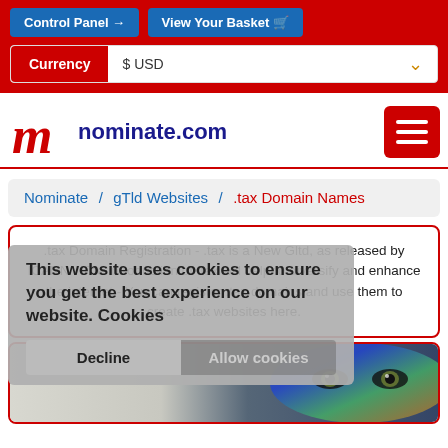Control Panel | View Your Basket | Currency $ USD
[Figure (logo): nominate.com logo with red stylized M and navy text, hamburger menu button]
Nominate / gTld Websites / .tax Domain Names
.tax Domain Registration - .tax is a New Gltd, as released by ICANN - The introduction of .tax will help to diversify and enhance the internet - You can register .tax domains and use them to create .tax websites here.
This website uses cookies to ensure you get the best experience on our website. Cookies
Decline   Allow cookies
[Figure (photo): Face painted with globe/world map colours, close-up of eyes]